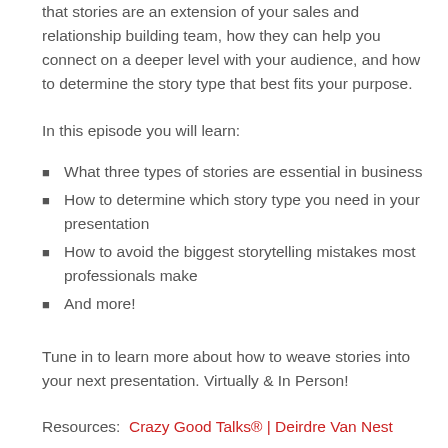that stories are an extension of your sales and relationship building team, how they can help you connect on a deeper level with your audience, and how to determine the story type that best fits your purpose.
In this episode you will learn:
What three types of stories are essential in business
How to determine which story type you need in your presentation
How to avoid the biggest storytelling mistakes most professionals make
And more!
Tune in to learn more about how to weave stories into your next presentation. Virtually & In Person!
Resources:  Crazy Good Talks® | Deirdre Van Nest